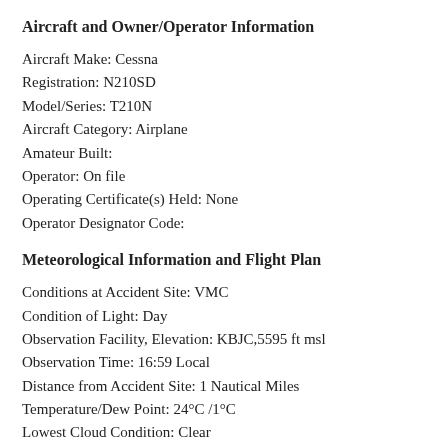Aircraft and Owner/Operator Information
Aircraft Make: Cessna
Registration: N210SD
Model/Series: T210N
Aircraft Category: Airplane
Amateur Built:
Operator: On file
Operating Certificate(s) Held: None
Operator Designator Code:
Meteorological Information and Flight Plan
Conditions at Accident Site: VMC
Condition of Light: Day
Observation Facility, Elevation: KBJC,5595 ft msl
Observation Time: 16:59 Local
Distance from Accident Site: 1 Nautical Miles
Temperature/Dew Point: 24°C /1°C
Lowest Cloud Condition: Clear
Wind Speed/Gusts, Direction: 15 knots / 20 knots, 30°
Lowest Ceiling: Broken / 8000 ft AGL